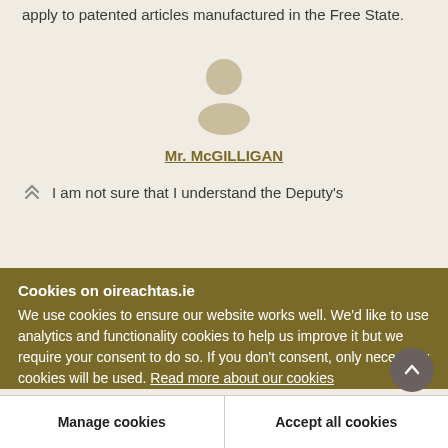apply to patented articles manufactured in the Free State.
[Figure (illustration): Generic person/avatar silhouette icon in beige/tan color]
Mr. McGILLIGAN
I am not sure that I understand the Deputy's
Cookies on oireachtas.ie
We use cookies to ensure our website works well. We'd like to use analytics and functionality cookies to help us improve it but we require your consent to do so. If you don't consent, only necessary cookies will be used. Read more about our cookies
Manage cookies
Accept all cookies